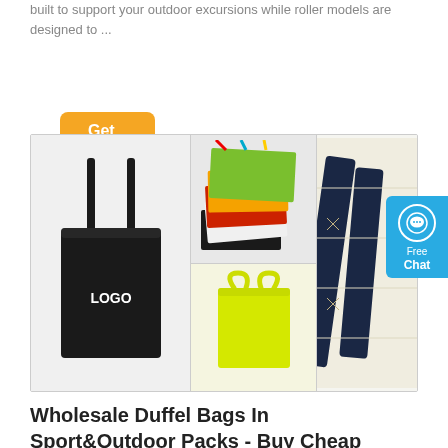built to support your outdoor excursions while roller models are designed to ...
Get Price
[Figure (photo): Product collage showing tote bags: a black canvas tote bag with LOGO text on the left, colorful stacked bags (green, red, orange, black, white) in upper middle, a yellow tote bag in lower middle, and a close-up of a cream canvas bag with dark navy straps on the right.]
Wholesale Duffel Bags In Sport&Outdoor Packs - Buy Cheap